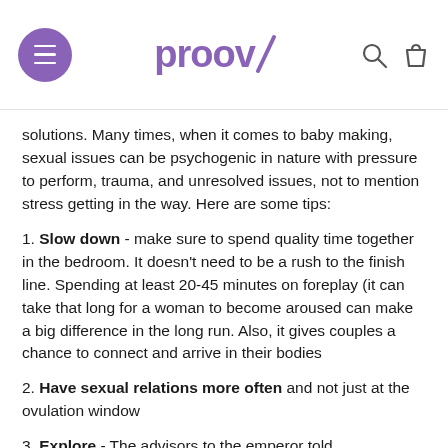proov
solutions. Many times, when it comes to baby making, sexual issues can be psychogenic in nature with pressure to perform, trauma, and unresolved issues, not to mention stress getting in the way. Here are some tips:
1. Slow down - make sure to spend quality time together in the bedroom. It doesn't need to be a rush to the finish line. Spending at least 20-45 minutes on foreplay (it can take that long for a woman to become aroused can make a big difference in the long run. Also, it gives couples a chance to connect and arrive in their bodies
2. Have sexual relations more often and not just at the ovulation window
3. Explore - The advisors to the emperor told